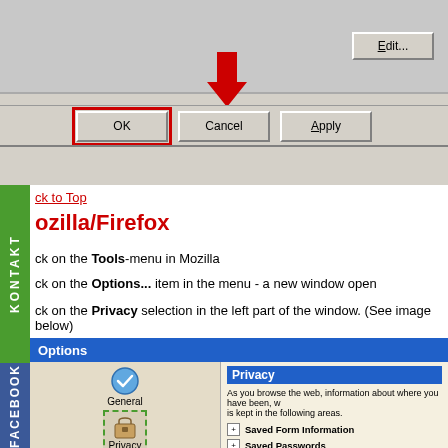[Figure (screenshot): Windows dialog box showing OK, Cancel, and Apply buttons with a red arrow pointing to the OK button and a red rectangle border around the OK button. Edit... button visible in top right. Background is gray (Windows classic style).]
ck to Top
ozilla/Firefox
ck on the Tools-menu in Mozilla
ck on the Options... item in the menu - a new window open
ck on the Privacy selection in the left part of the window. (See image below)
[Figure (screenshot): Mozilla Firefox Options dialog showing the Privacy section selected in the left sidebar (highlighted with green dashed border). Right panel shows Privacy heading with text 'As you browse the web, information about where you have been, w is kept in the following areas.' Three items listed: Saved Form Information, Saved Passwords, Download Manager History — all with [+] expand icons.]